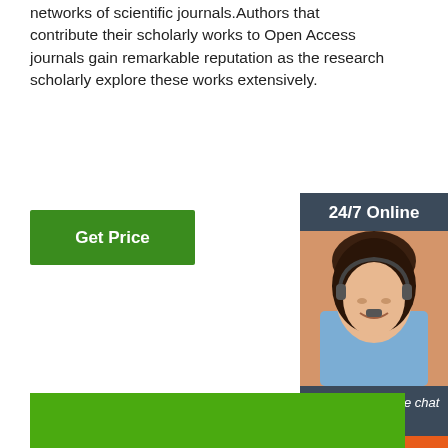networks of scientific journals.Authors that contribute their scholarly works to Open Access journals gain remarkable reputation as the research scholarly explore these works extensively.
[Figure (other): Green 'Get Price' button]
[Figure (other): Sidebar with '24/7 Online' header, photo of woman with headset, 'Click here for free chat!' text, and orange QUOTATION button]
[Figure (photo): Close-up photo of a white flower with green leaves and small green buds, with a 'TOP' logo watermark in the lower right]